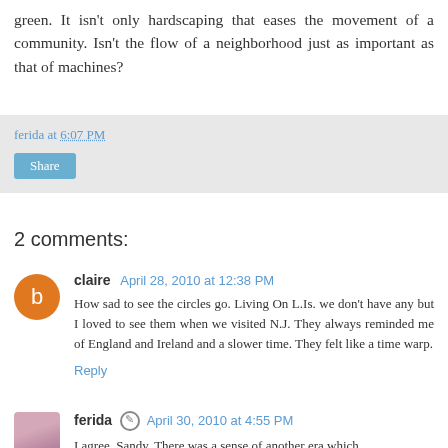green. It isn't only hardscaping that eases the movement of a community. Isn't the flow of a neighborhood just as important as that of machines?
ferida at 6:07 PM
Share
2 comments:
claire April 28, 2010 at 12:38 PM
How sad to see the circles go. Living On L.Is. we don't have any but I loved to see them when we visited N.J. They always reminded me of England and Ireland and a slower time. They felt like a time warp.
Reply
ferida April 30, 2010 at 4:55 PM
I agree, Sandy. There was a sense of another era which